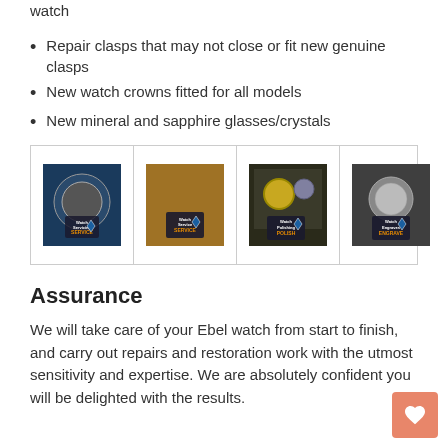watch
Repair clasps that may not close or fit new genuine clasps
New watch crowns fitted for all models
New mineral and sapphire glasses/crystals
[Figure (photo): Four watch service product images with tags showing Watch Servicing, Watch Service, Watch Polishing, Watch Engraves services respectively]
Assurance
We will take care of your Ebel watch from start to finish, and carry out repairs and restoration work with the utmost sensitivity and expertise. We are absolutely confident you will be delighted with the results.